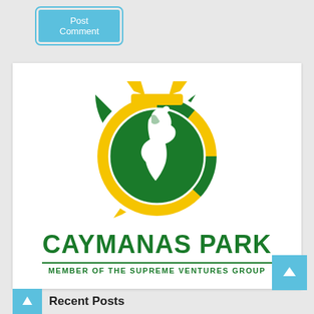[Figure (other): Post Comment button - blue rounded rectangle with white text]
[Figure (logo): Caymanas Park logo: green circle with white horse head illustration, surrounded by alternating green and yellow segments ring, with yellow horseshoe on top. Below: CAYMANAS PARK in bold green, green divider line, MEMBER OF THE SUPREME VENTURES GROUP in green uppercase.]
Recent Posts